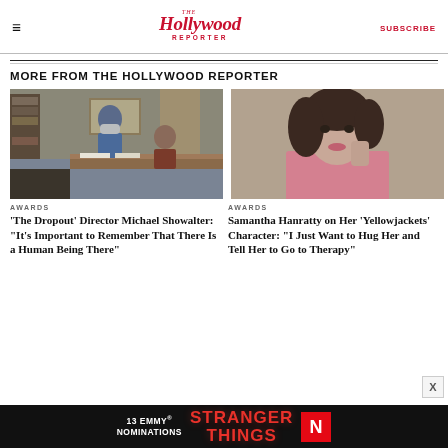The Hollywood Reporter | SUBSCRIBE
MORE FROM THE HOLLYWOOD REPORTER
[Figure (photo): Behind-the-scenes photo on set of The Dropout showing a director with cast members in an office setting]
AWARDS
'The Dropout' Director Michael Showalter: "It's Important to Remember That There Is a Human Being There"
[Figure (photo): Portrait photo of Samantha Hanratty in a pink top]
AWARDS
Samantha Hanratty on Her 'Yellowjackets' Character: "I Just Want to Hug Her and Tell Her to Go to Therapy"
[Figure (screenshot): Stranger Things advertisement banner: 13 Emmy Nominations | Stranger Things | Netflix]